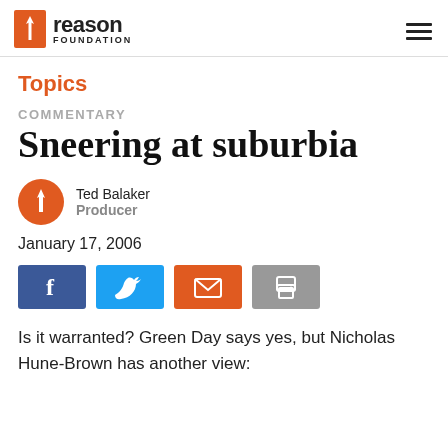Reason Foundation
Topics
COMMENTARY
Sneering at suburbia
Ted Balaker
Producer
January 17, 2006
Is it warranted? Green Day says yes, but Nicholas Hune-Brown has another view: